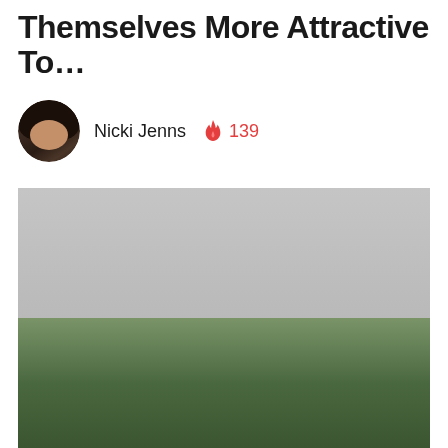Themselves More Attractive To…
Nicki Jenns 🔥 139
[Figure (photo): A landscape or outdoor photo with a gray sky above and green vegetation/trees in the lower portion, rendered as a placeholder image area]